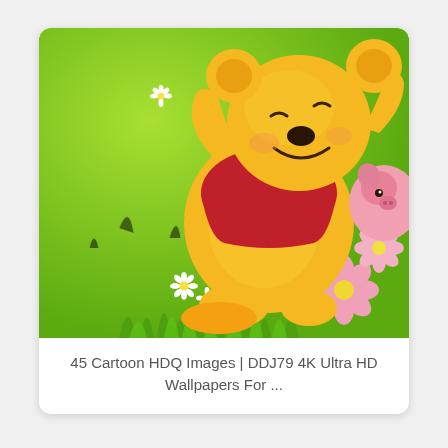[Figure (illustration): Winnie the Pooh cartoon character lying on green grass with pink flowers, wearing a red shirt, smiling with eyes closed, with Piglet partially visible on the right side. Illustration style with bright green grassy background and white daisy flowers.]
45 Cartoon HDQ Images | DDJ79 4K Ultra HD Wallpapers For ...